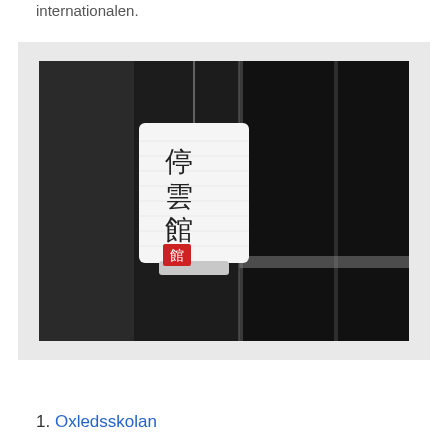internationalen.
[Figure (photo): Black and white photo of a hanging Japanese paper lantern with Chinese/Japanese characters and a red seal stamp, suspended by a thin wire against a dark background with window frames visible.]
1. Oxledsskolan